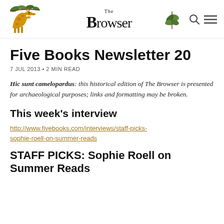The Browser
Five Books Newsletter 20
7 JUL 2013 • 2 MIN READ
Hic sunt camelopardus: this historical edition of The Browser is presented for archaeological purposes; links and formatting may be broken.
This week's interview
http://www.fivebooks.com/interviews/staff-picks-sophie-roell-on-summer-reads
STAFF PICKS: Sophie Roell on Summer Reads